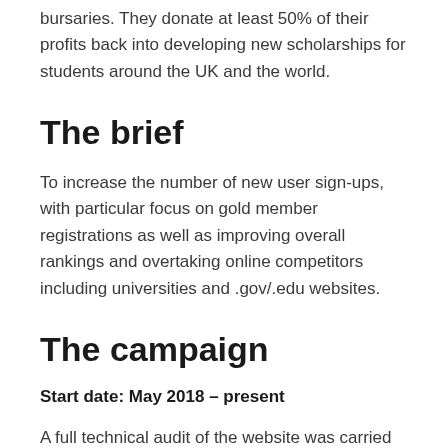bursaries. They donate at least 50% of their profits back into developing new scholarships for students around the UK and the world.
The brief
To increase the number of new user sign-ups, with particular focus on gold member registrations as well as improving overall rankings and overtaking online competitors including universities and .gov/.edu websites.
The campaign
Start date: May 2018 – present
A full technical audit of the website was carried out to